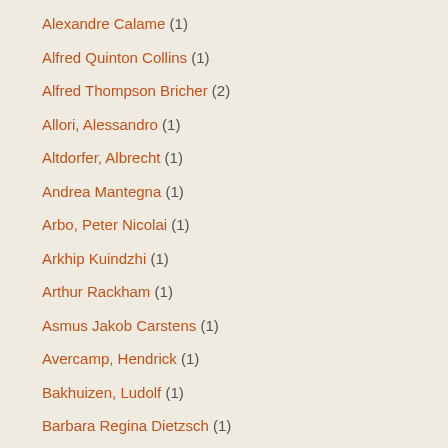Alexandre Calame (1)
Alfred Quinton Collins (1)
Alfred Thompson Bricher (2)
Allori, Alessandro (1)
Altdorfer, Albrecht (1)
Andrea Mantegna (1)
Arbo, Peter Nicolai (1)
Arkhip Kuindzhi (1)
Arthur Rackham (1)
Asmus Jakob Carstens (1)
Avercamp, Hendrick (1)
Bakhuizen, Ludolf (1)
Barbara Regina Dietzsch (1)
Barret Sr, George (1)
Bassano, Leandro (1)